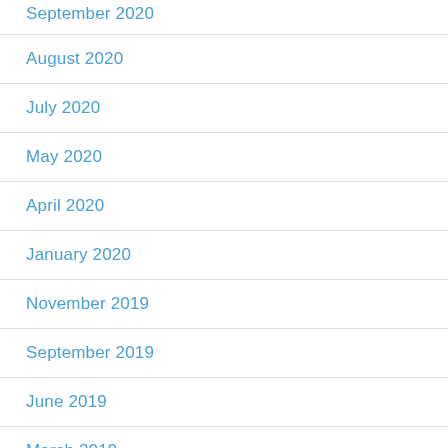September 2020
August 2020
July 2020
May 2020
April 2020
January 2020
November 2019
September 2019
June 2019
March 2019